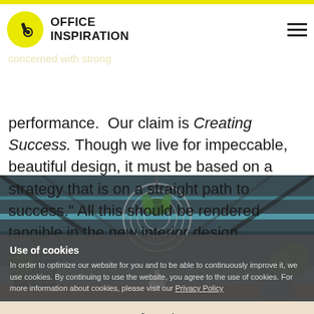OFFICE INSPIRATION
to such impressive, purposeful effect when it comes to creating an outfit. But for nothing has he been singled out as having it all. Despite his friendly nature, a great entrepreneur is always concerned with strong performance. Our claim is Creating Success. Though we live for impeccable, beautiful design, it must be based on a strategy that is on a straight path to success." All this should be rendered tangible in the new interior design.
[Figure (photo): Interior office space with modern ceiling lighting and hanging glass lamp with plants, photographed from below]
Use of cookies
In order to optimize our website for you and to be able to continuously improve it, we use cookies. By continuing to use the website, you agree to the use of cookies. For more information about cookies, please visit our Privacy Policy
Accept